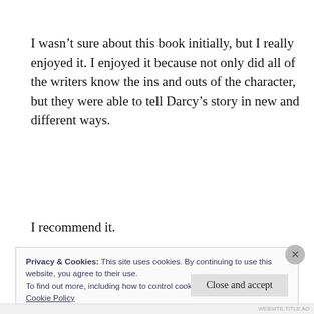I wasn't sure about this book initially, but I really enjoyed it. I enjoyed it because not only did all of the writers know the ins and outs of the character, but they were able to tell Darcy's story in new and different ways.
I recommend it.
Privacy & Cookies: This site uses cookies. By continuing to use this website, you agree to their use.
To find out more, including how to control cookies, see here:
Cookie Policy
WEBSITE.TITLE.AO